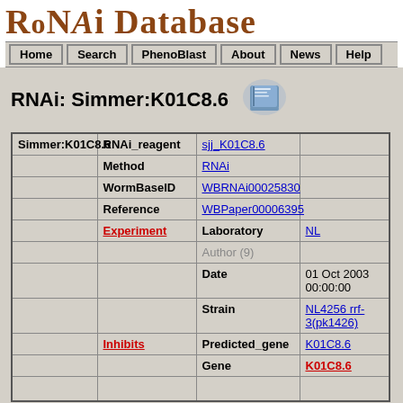[Figure (logo): RNAi Database decorative text logo in brown serif font]
Home | Search | PhenoBlast | About | News | Help
RNAi: Simmer:K01C8.6
| Col1 | Col2 | Col3 | Col4 |
| --- | --- | --- | --- |
| Simmer:K01C8.6 | RNAi_reagent | sjj_K01C8.6 |  |
|  | Method | RNAi |  |
|  | WormBaseID | WBRNAi00025830 |  |
|  | Reference | WBPaper00006395 |  |
|  | Experiment | Laboratory | NL |
|  |  | Author (9) |  |
|  |  | Date | 01 Oct 2003 00:00:00 |
|  |  | Strain | NL4256 rrf-3(pk1426) |
|  | Inhibits | Predicted_gene | K01C8.6 |
|  |  | Gene | K01C8.6 |